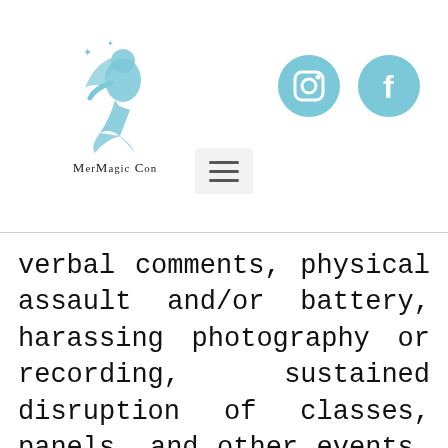[Figure (logo): MerMagic Con logo with mermaid silhouette and sparkles in light blue, with text 'MerMagic Con' below]
[Figure (infographic): Light blue Instagram and Facebook social media icons (circles with white icons inside)]
[Figure (other): Hamburger menu button (three horizontal lines) in a light gray rounded rectangle]
verbal comments, physical assault and/or battery, harassing photography or recording, sustained disruption of classes, panels, and other events, bathroom policing, inappropriate physical contact, and unwelcome